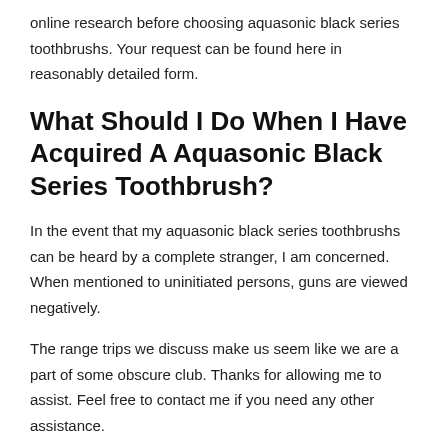online research before choosing aquasonic black series toothbrushs. Your request can be found here in reasonably detailed form.
What Should I Do When I Have Acquired A Aquasonic Black Series Toothbrush?
In the event that my aquasonic black series toothbrushs can be heard by a complete stranger, I am concerned. When mentioned to uninitiated persons, guns are viewed negatively.
The range trips we discuss make us seem like we are a part of some obscure club. Thanks for allowing me to assist. Feel free to contact me if you need any other assistance.
The Summary